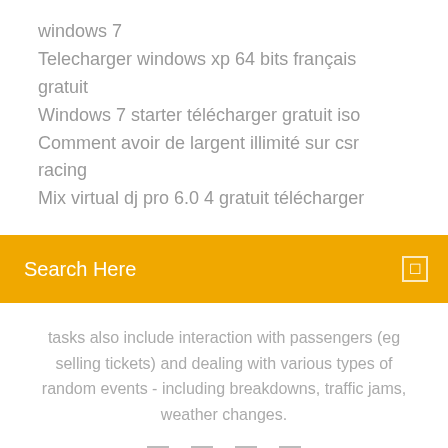windows 7
Telecharger windows xp 64 bits français gratuit
Windows 7 starter télécharger gratuit iso
Comment avoir de largent illimité sur csr racing
Mix virtual dj pro 6.0 4 gratuit télécharger
[Figure (screenshot): Search bar with orange/amber background and 'Search Here' placeholder text with a small icon on the right]
tasks also include interaction with passengers (eg selling tickets) and dealing with various types of random events - including breakdowns, traffic jams, weather changes.
[Figure (other): Four small square bracket icons in a row]
Bus Simulator 18 Telecharger sur la plate-forme Windows PC est une autre partie d'une série de simulateurs de bus urbains créés depuis des années